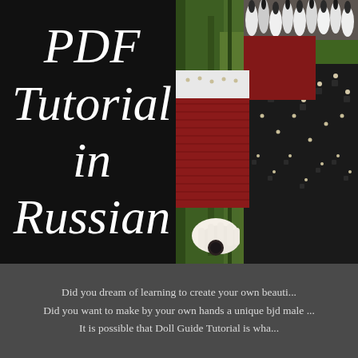PDF Tutorial in Russian
[Figure (photo): A BJD (ball-jointed doll) wearing an ornate outfit with fur trim, dark patterned coat with white floral embroidery, red knit sleeve, and a red vest. The doll is posed outdoors against a mossy green background.]
Did you dream of learning to create your own beauti... Did you want to make by your own hands a unique bjd male ... It is possible that Doll Guide Tutorial is wha...